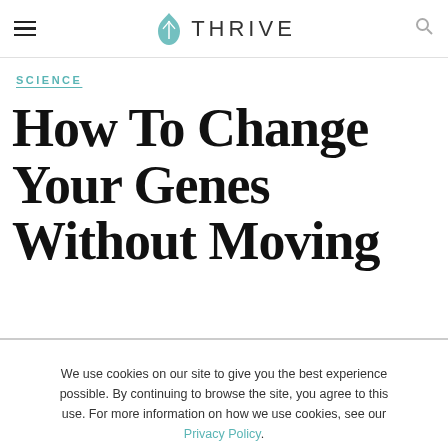THRIVE
SCIENCE
How To Change Your Genes Without Moving
We use cookies on our site to give you the best experience possible. By continuing to browse the site, you agree to this use. For more information on how we use cookies, see our Privacy Policy.
CONTINUE